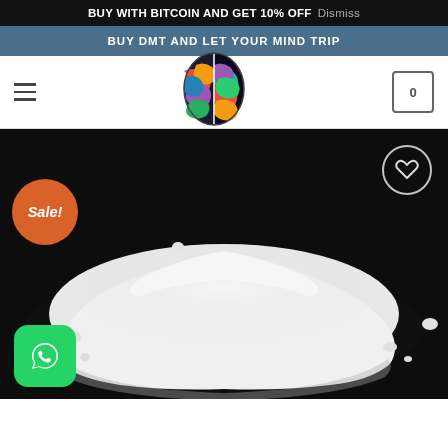BUY WITH BITCOIN AND GET 10% OFF Dismiss
BUY DMT AND LET YOUR MIND TRIP
[Figure (logo): Navigation bar with hamburger menu, colorful brain logo, and shopping cart icon showing 0]
[Figure (photo): Product photo of a white powder (DMT) pile on a dark background, with Sale! badge in orange circle, heart wishlist button top right, and WhatsApp icon bottom left]